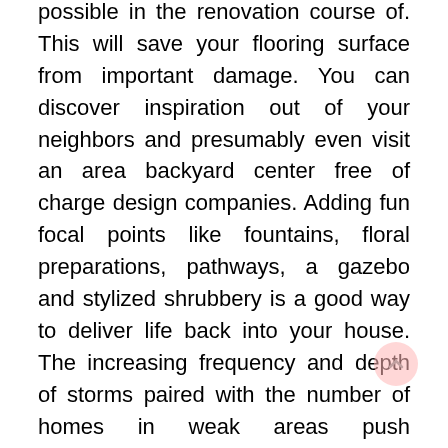possible in the renovation course of. This will save your flooring surface from important damage. You can discover inspiration out of your neighbors and presumably even visit an area backyard center free of charge design companies. Adding fun focal points like fountains, floral preparations, pathways, a gazebo and stylized shrubbery is a good way to deliver life back into your house. The increasing frequency and depth of storms paired with the number of homes in weak areas push householders to spend on disaster repairs.

A large two-car storage door is a huge